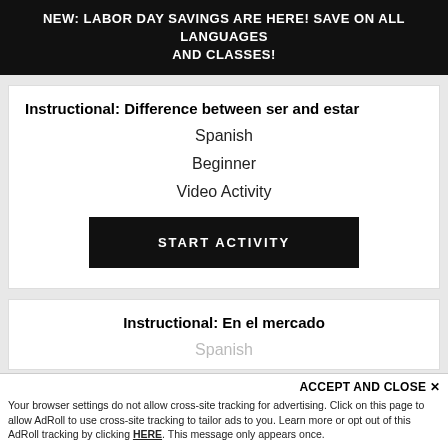NEW: LABOR DAY SAVINGS ARE HERE! SAVE ON ALL LANGUAGES AND CLASSES!
Instructional: Difference between ser and estar
Spanish
Beginner
Video Activity
START ACTIVITY
Instructional: En el mercado
Spanish
ACCEPT AND CLOSE ✕
Your browser settings do not allow cross-site tracking for advertising. Click on this page to allow AdRoll to use cross-site tracking to tailor ads to you. Learn more or opt out of this AdRoll tracking by clicking HERE. This message only appears once.